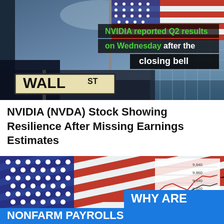[Figure (photo): Wall Street sign photo with American flag in background, dark sky. Overlay text reads: 'NVIDIA reported Q2 results on Wednesday after the closing bell']
NVIDIA (NVDA) Stock Showing Resilience After Missing Earnings Estimates
[Figure (photo): American flag diagonal photo with financial chart in background. Blue text overlay reads: 'WHY ARE NONFARM PAYROLLS']